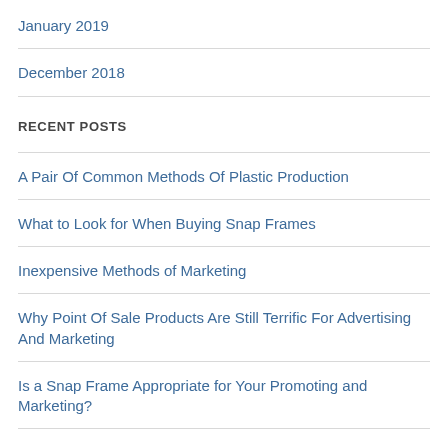January 2019
December 2018
RECENT POSTS
A Pair Of Common Methods Of Plastic Production
What to Look for When Buying Snap Frames
Inexpensive Methods of Marketing
Why Point Of Sale Products Are Still Terrific For Advertising And Marketing
Is a Snap Frame Appropriate for Your Promoting and Marketing?